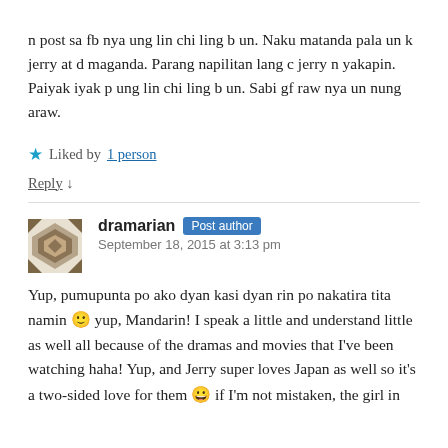n post sa fb nya ung lin chi ling b un. Naku matanda pala un k jerry at d maganda. Parang napilitan lang c jerry n yakapin. Paiyak iyak p ung lin chi ling b un. Sabi gf raw nya un nung araw.
★ Liked by 1 person
Reply ↓
dramarian Post author
September 18, 2015 at 3:13 pm
Yup, pumupunta po ako dyan kasi dyan rin po nakatira tita namin 🙂 yup, Mandarin! I speak a little and understand little as well all because of the dramas and movies that I've been watching haha! Yup, and Jerry super loves Japan as well so it's a two-sided love for them 😀 if I'm not mistaken, the girl in